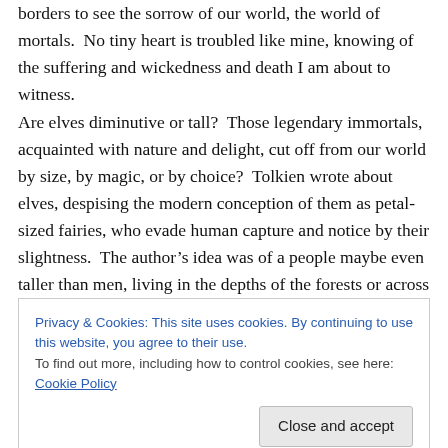borders to see the sorrow of our world, the world of mortals.  No tiny heart is troubled like mine, knowing of the suffering and wickedness and death I am about to witness.
Are elves diminutive or tall?  Those legendary immortals, acquainted with nature and delight, cut off from our world by size, by magic, or by choice?  Tolkien wrote about elves, despising the modern conception of them as petal-sized fairies, who evade human capture and notice by their slightness.  The author's idea was of a people maybe even taller than men, living in the depths of the forests or across the leagues of the sea.
Privacy & Cookies: This site uses cookies. By continuing to use this website, you agree to their use.
To find out more, including how to control cookies, see here: Cookie Policy
Close and accept
fragrant visions of living loveliness.  Their world was the